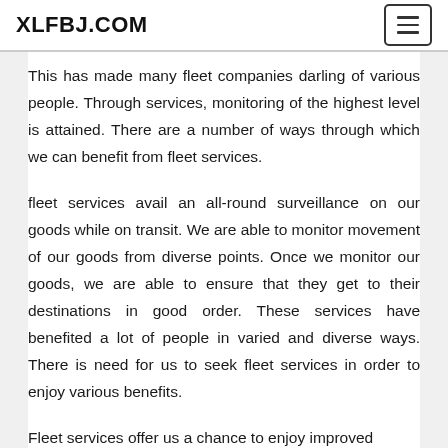XLFBJ.COM
This has made many fleet companies darling of various people. Through services, monitoring of the highest level is attained. There are a number of ways through which we can benefit from fleet services.
fleet services avail an all-round surveillance on our goods while on transit. We are able to monitor movement of our goods from diverse points. Once we monitor our goods, we are able to ensure that they get to their destinations in good order. These services have benefited a lot of people in varied and diverse ways. There is need for us to seek fleet services in order to enjoy various benefits.
Fleet services offer us a chance to enjoy improved